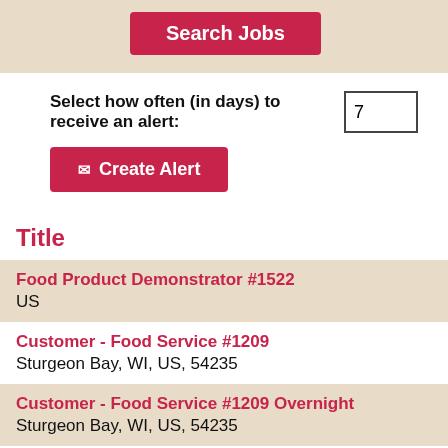[Figure (screenshot): Search Jobs button on a beige/tan background banner]
Select how often (in days) to receive an alert: 7
[Figure (screenshot): Create Alert button with mail icon]
Title
Food Product Demonstrator #1522
US
Customer - Food Service #1209
Sturgeon Bay, WI, US, 54235
Customer - Food Service #1209 Overnight
Sturgeon Bay, WI, US, 54235
Food Service Coworker #733